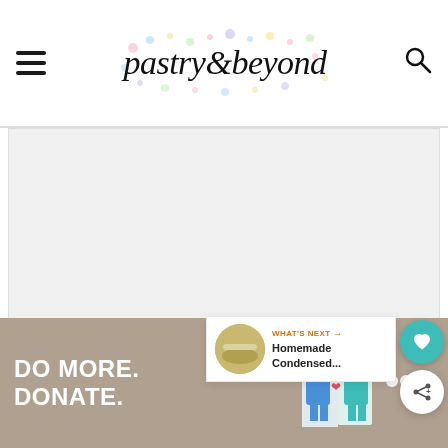pastry&beyond — site header with hamburger menu and search icon
[Figure (photo): Large white/blank main image area below header]
[Figure (illustration): Floating teal heart favorite button]
[Figure (illustration): Floating white share button]
WHAT'S NEXT → Homemade Condensed...
[Figure (photo): Thumbnail image for Homemade Condensed... next article]
[Figure (illustration): Advertisement banner: DO MORE. DONATE. with figures and close button]